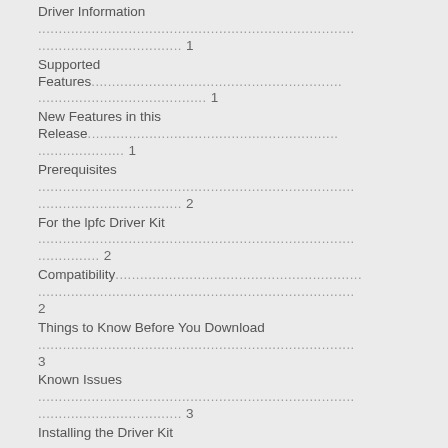Driver Information ............................................................. 1
Supported Features............................................................. 1
New Features in this Release............................................................. 1
Prerequisites ............................................................. 2
For the lpfc Driver Kit ............................................................. 2
Compatibility............................................................. 2
Things to Know Before You Download ............................................................. 3
Known Issues ............................................................. 3
Installing the Driver Kit ............................................................. 3
Driver Kit Install Script